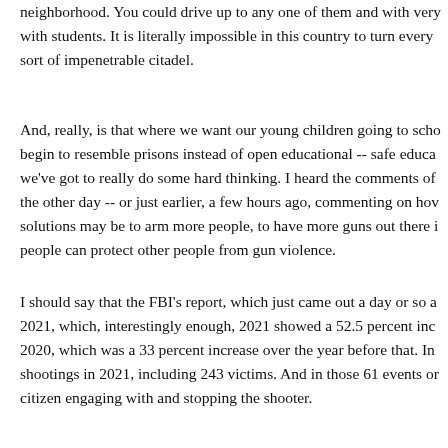neighborhood. You could drive up to any one of them and with very with students. It is literally impossible in this country to turn every sort of impenetrable citadel.
And, really, is that where we want our young children going to scho begin to resemble prisons instead of open educational -- safe educa we've got to really do some hard thinking. I heard the comments of the other day -- or just earlier, a few hours ago, commenting on how solutions may be to arm more people, to have more guns out there i people can protect other people from gun violence.
I should say that the FBI's report, which just came out a day or so a 2021, which, interestingly enough, 2021 showed a 52.5 percent inc 2020, which was a 33 percent increase over the year before that. In shootings in 2021, including 243 victims. And in those 61 events or citizen engaging with and stopping the shooter.